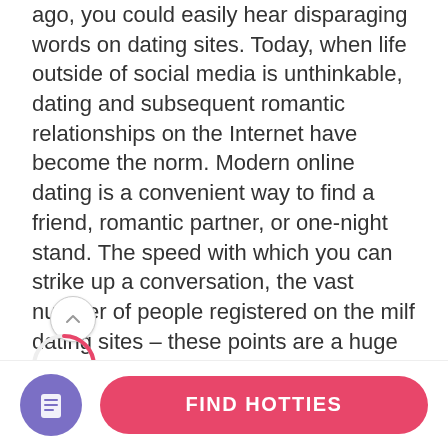ago, you could easily hear disparaging words on dating sites. Today, when life outside of social media is unthinkable, dating and subsequent romantic relationships on the Internet have become the norm. Modern online dating is a convenient way to find a friend, romantic partner, or one-night stand. The speed with which you can strike up a conversation, the vast number of people registered on the milf dating sites – these points are a huge plus. And the same scheme of a person's choice is no different from how we do it in everyday life.
[Figure (infographic): A circular progress indicator showing 55% in pink/red, with a scroll-up arrow button above it]
HOW WORKS MILF DATING SITES?
Unlike the regular dating sites, milf dating sites are created ...
[Figure (other): Footer bar with a purple circular icon with document/list symbol and a pink 'FIND HOTTIES' button]